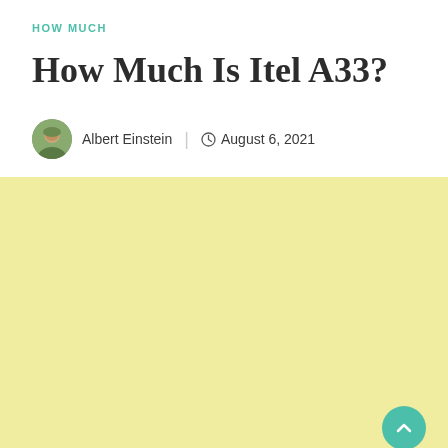HOW MUCH
How Much Is Itel A33?
Albert Einstein  August 6, 2021
[Figure (other): Light yellow advertisement banner placeholder area with a teal back-to-top button in the bottom right corner]